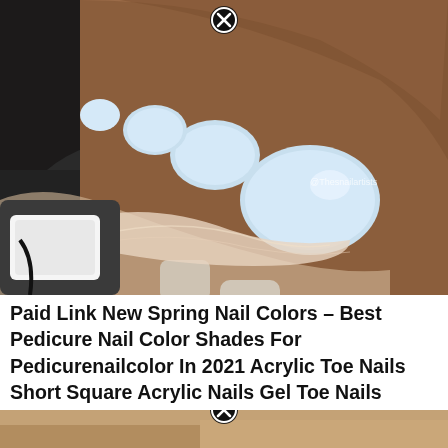[Figure (photo): Close-up photo of a person's foot with white/light blue painted toenails being held over what appears to be a nail salon bowl. A gloved hand is visible in the lower portion. Watermark '@Thesnailartists' visible in the lower right of the image. A circular close/X button is visible at the top center.]
Paid Link New Spring Nail Colors – Best Pedicure Nail Color Shades For Pedicurenailcolor In 2021 Acrylic Toe Nails Short Square Acrylic Nails Gel Toe Nails
[Figure (photo): Partial bottom strip of another photo, cropped. A circular close/X button is visible at the top center of the strip.]